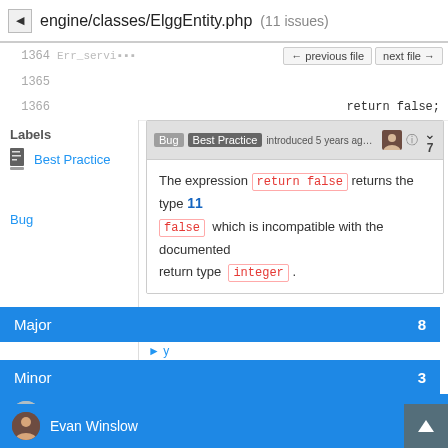engine/classes/ElggEntity.php (11 issues)
1364
1365
1366    return false;
Labels
Best Practice
Bug introduced 5 years ago by
7
The expression return false returns the type 11 false which is incompatible with the documented return type integer .
Severity
Major 8
Minor 3
1369  // if different owner th
1381  if (!$container) {
Introduced By
1382  _elgg_services()
Ismayil Khayredinov 4
Evan Winslow 3